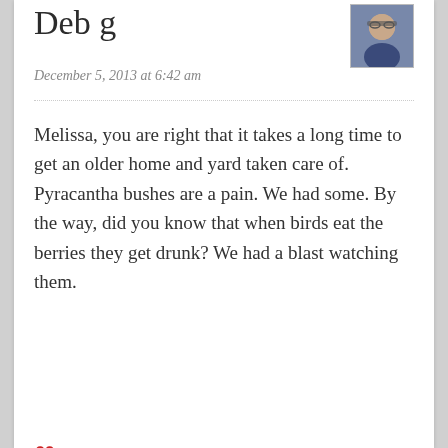Deb g
December 5, 2013 at 6:42 am
[Figure (photo): Avatar photo of Deb g, a woman with glasses]
Melissa, you are right that it takes a long time to get an older home and yard taken care of. Pyracantha bushes are a pain. We had some. By the way, did you know that when birds eat the berries they get drunk? We had a blast watching them.
❤
Melissa
[Figure (photo): Avatar placeholder for Melissa]
December 6, 2013 at 3:40 am